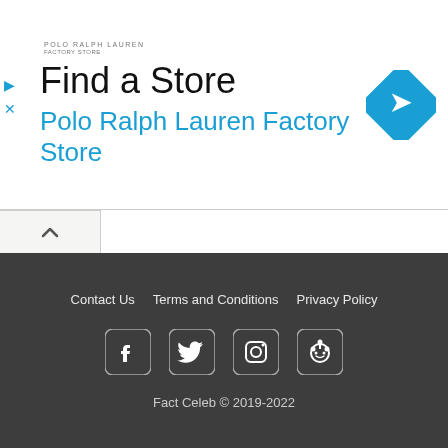[Figure (screenshot): Advertisement banner for Polo Ralph Lauren Factory Store with Find a Store heading, logo, and navigation arrow icon]
Nia Vardalos – Boyfriend, Husband, Daughter, Ethnicity, Net Worth
Zach Villa – Girlfriend, Wife, Net Worth, Ethnicity, Children
Contact Us   Terms and Conditions   Privacy Policy   Fact Celeb © 2019-2022